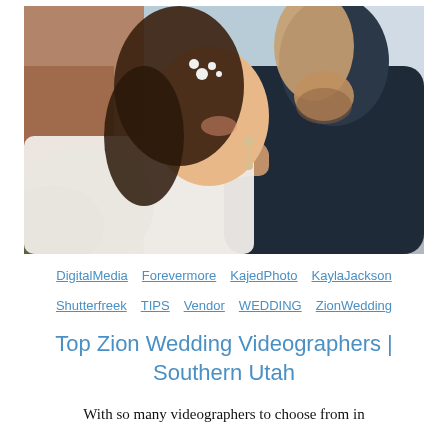[Figure (photo): Close-up romantic photo of a bride and groom about to kiss. The bride has long wavy hair with floral hair accessories and drop earrings, wearing a white dress. The groom is in a dark navy suit, holding the bride's face. Rocky red canyon walls and greenery visible in background — appears to be Zion National Park.]
DigitalMedia  Forevermore  KajedPhoto  KaylaJackson  Shutterfreek  TIPS  Vendor  WEDDING  ZionWedding
Top Zion Wedding Videographers | Southern Utah
With so many videographers to choose from in